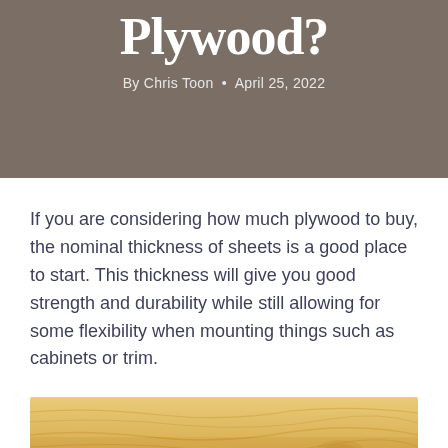Plywood?
By Chris Toon • April 25, 2022
If you are considering how much plywood to buy, the nominal thickness of sheets is a good place to start. This thickness will give you good strength and durability while still allowing for some flexibility when mounting things such as cabinets or trim.
[Figure (photo): Close-up photo of plywood wood grain texture, showing light golden-tan colored wood surface with natural grain patterns]